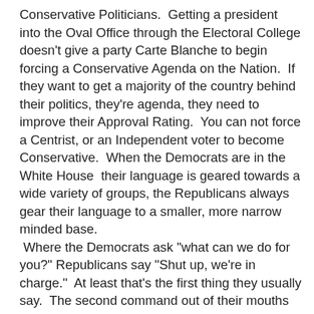Conservative Politicians.  Getting a president into the Oval Office through the Electoral College doesn't give a party Carte Blanche to begin forcing a Conservative Agenda on the Nation.  If they want to get a majority of the country behind their politics, they're agenda, they need to improve their Approval Rating.  You can not force a Centrist, or an Independent voter to become Conservative.  When the Democrats are in the White House  their language is geared towards a wide variety of groups, the Republicans always gear their language to a smaller, more narrow minded base.  Where the Democrats ask "what can we do for you?" Republicans say "Shut up, we're in charge."  At least that's the first thing they usually say.  The second command out of their mouths is "Bend over Buddy."  They are only concerned with making their base happy, and no one else. Will people like my brother ever see things differently?  Most likely not, that would entail re-evaluating his belief system.  He would need to question his very concept of the truth. Ironically enough, my brother has 6 children, Noah's the only Conservative, Nick is non-political, Adam's a Libertarian, Natilie, Gordon, and Jessica, and their respective spouses, are all Liberals.  His family is a great example of my axiom